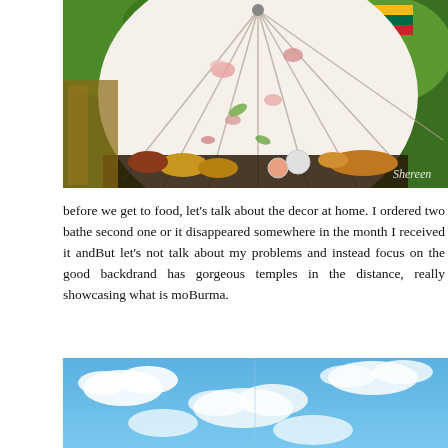[Figure (photo): Overhead photo of a decorative floral umbrella/parasol viewed from below, with food items and small containers arranged around the base, green foliage and a flag in the background. Watermark reads 'Shereen' in bottom right corner.]
before we get to food, let's talk about the decor at home. I ordered two ba... the second one or it disappeared somewhere in the month I received it and... But let's not talk about my problems and instead focus on the good backdr... and has gorgeous temples in the distance, really showcasing what is mo... Burma.
[Figure (photo): Photo of a bright blue sky with white clouds.]